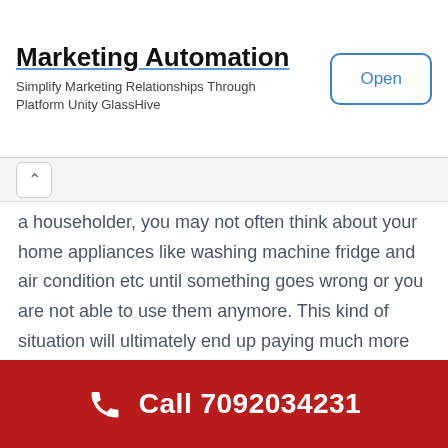Marketing Automation
Simplify Marketing Relationships Through Platform Unity GlassHive
Open
a householder, you may not often think about your home appliances like washing machine fridge and air condition etc until something goes wrong or you are not able to use them anymore. This kind of situation will ultimately end up paying much more money but it can be prevented by capturing the problem earlier. It is a fact that we cannot always avoid the appliance problems.
It is important to note that like cars and motorbikes, Home appliances also need regular service and repair.
Call 7092034231